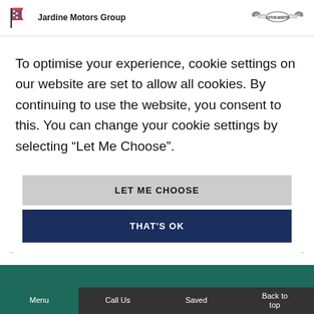[Figure (logo): Jardine Motors Group logo with flag icon on the left, Aston Martin wings logo on the right]
To optimise your experience, cookie settings on our website are set to allow all cookies. By continuing to use the website, you consent to this. You can change your cookie settings by selecting “Let Me Choose”.
LET ME CHOOSE
THAT'S OK
Menu   Call Us   Saved   Back to top